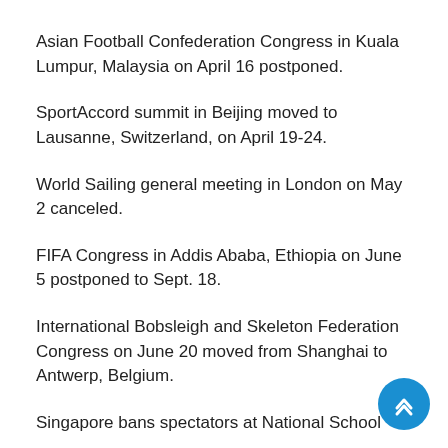Asian Football Confederation Congress in Kuala Lumpur, Malaysia on April 16 postponed.
SportAccord summit in Beijing moved to Lausanne, Switzerland, on April 19-24.
World Sailing general meeting in London on May 2 canceled.
FIFA Congress in Addis Ababa, Ethiopia on June 5 postponed to Sept. 18.
International Bobsleigh and Skeleton Federation Congress on June 20 moved from Shanghai to Antwerp, Belgium.
Singapore bans spectators at National School